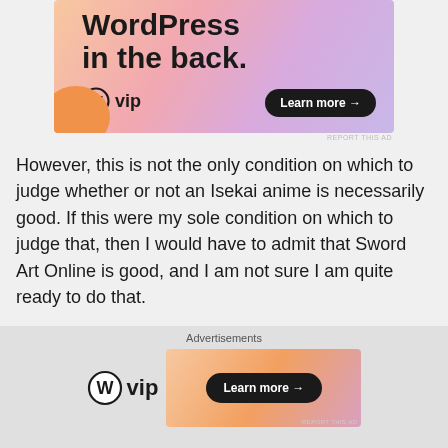[Figure (illustration): WordPress VIP advertisement banner with colorful gradient background (peach, pink, lavender). Large bold text reads 'WordPress in the back.' with WordPress VIP logo and 'Learn more →' button.]
However, this is not the only condition on which to judge whether or not an Isekai anime is necessarily good. If this were my sole condition on which to judge that, then I would have to admit that Sword Art Online is good, and I am not sure I am quite ready to do that.
It is helpful to think about it in some philosophical terms. In Epistemology, there is a concept known as Necessary and Sufficient Conditions. A Necessary Condition is one that is
[Figure (illustration): WordPress VIP advertisement. Left side shows WordPress VIP logo (circle with W and 'vip' text). Right side shows gradient banner with 'Learn more →' button on dark pill background.]